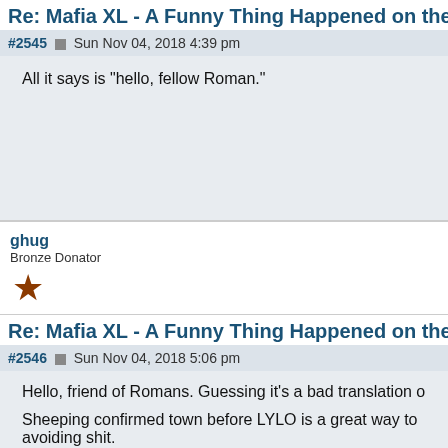Re: Mafia XL - A Funny Thing Happened on the W
#2545  Sun Nov 04, 2018 4:39 pm
All it says is "hello, fellow Roman."
ghug
Bronze Donator
Re: Mafia XL - A Funny Thing Happened on the W
#2546  Sun Nov 04, 2018 5:06 pm
Hello, friend of Romans. Guessing it's a bad translation o
Sheeping confirmed town before LYLO is a great way to avoiding shit.
Demon should definitely list and then pass to an unknow